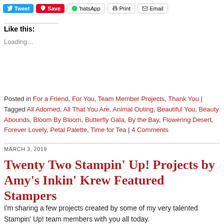Tweet  Save  WhatsApp  Print  Email
Like this:
Loading…
Posted in For a Friend, For You, Team Member Projects, Thank You | Tagged All Adorned, All That You Are, Animal Outing, Beautiful You, Beauty Abounds, Bloom By Bloom, Butterfly Gala, By the Bay, Flowering Desert, Forever Lovely, Petal Palette, Time for Tea | 4 Comments
MARCH 3, 2019
Twenty Two Stampin' Up! Projects by Amy's Inkin' Krew Featured Stampers
I'm sharing a few projects created by some of my very talented Stampin' Up! team members with you all today.